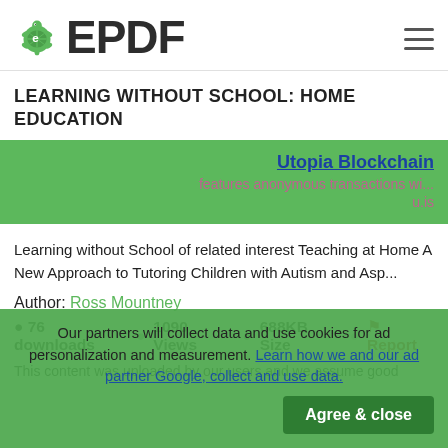[Figure (logo): EPDF logo with green turtle icon and bold EPDF text]
LEARNING WITHOUT SCHOOL: HOME EDUCATION
[Figure (infographic): Green advertisement banner for Utopia Blockchain featuring anonymous transactions with link u.is]
Learning without School of related interest Teaching at Home A New Approach to Tutoring Children with Autism and Asp...
Author: Ross Mountney
76 downloads   1090 Views   688KB Size   Report
This content was uploaded by our users and we assume good
Our partners will collect data and use cookies for ad personalization and measurement. Learn how we and our ad partner Google, collect and use data.